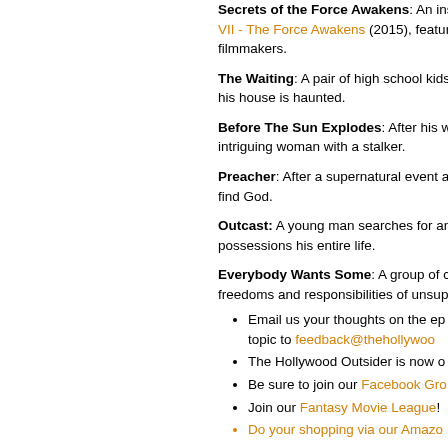Secrets of the Force Awakens: An inside look at Star Wars: The Force Awakens (2015), featuring filmmakers.
The Waiting: A pair of high school kids try to convince their friend that his house is haunted.
Before The Sun Explodes: After his wife is murdered, a man meets an intriguing woman with a stalker.
Preacher: After a supernatural event at his church, a preacher sets out to find God.
Outcast: A young man searches for answers to the demonic possessions his entire life.
Everybody Wants Some: A group of college students explore the freedoms and responsibilities of unsupervised adulthood.
Email us your thoughts on the episode or suggest a topic to feedback@thehollywood...
The Hollywood Outsider is now on...
Be sure to join our Facebook Gr...
Join our Fantasy Movie League!
Do your shopping via our Amazo...
Listen and Subscribe for FREE to a new and TV Podcast at:
Apple App: https://itunes.apple.com/us/a...
Google App: https://play.google.com/stor... id=com.thehollywoodoutsider.android.the...
iTunes: http://itunes.apple.com/us/podca...
Stitcher: http://app.stitcher.com/browse/f...